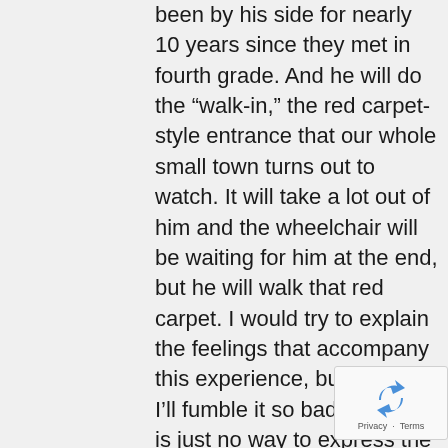been by his side for nearly 10 years since they met in fourth grade. And he will do the "walk-in," the red carpet-style entrance that our whole small town turns out to watch. It will take a lot out of him and the wheelchair will be waiting for him at the end, but he will walk that red carpet. I would try to explain the feelings that accompany this experience, but I know I'll fumble it so badly. There is just no way to express the cacophony of relief, gratitude, sadness, and joy jumbling inside me.
Graduation. It's on Sunday. I am proud and I am scared. I am happy and I am sad. I am grateful and I am freaked out. I think of Adam, a boy I know with Duchenne who